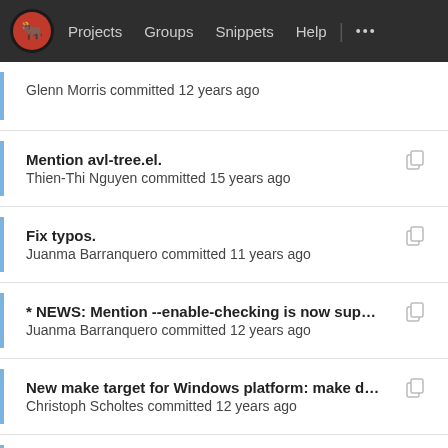Projects  Groups  Snippets  Help  ...
Glenn Morris committed 12 years ago
Mention avl-tree.el.
Thien-Thi Nguyen committed 15 years ago
Fix typos.
Juanma Barranquero committed 11 years ago
* NEWS: Mention --enable-checking is now suppor...
Juanma Barranquero committed 12 years ago
New make target for Windows platform: make dist ...
Christoph Scholtes committed 12 years ago
Fix typos.
Juanma Barranquero committed 11 years ago
New make target for Windows platform: make dist ...
Christoph Scholtes committed 12 years ago